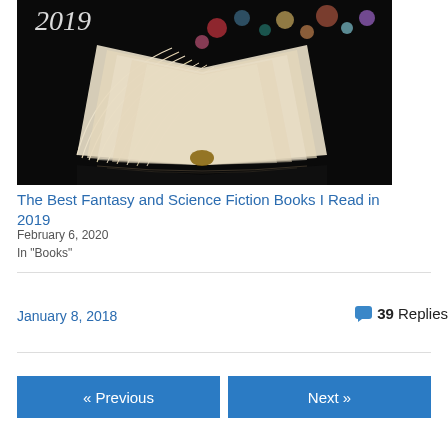[Figure (photo): An open book with pages fanned out forming a heart shape, colorful bokeh lights in the background, dark background, with '2019' text visible in the top corner]
The Best Fantasy and Science Fiction Books I Read in 2019
February 6, 2020
In "Books"
January 8, 2018
39 Replies
« Previous
Next »